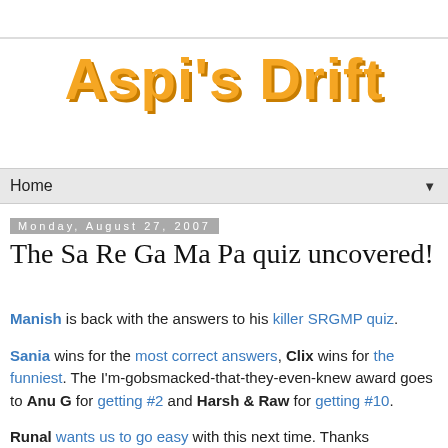Aspi's Drift
Home
Monday, August 27, 2007
The Sa Re Ga Ma Pa quiz uncovered!
Manish is back with the answers to his killer SRGMP quiz.
Sania wins for the most correct answers, Clix wins for the funniest. The I'm-gobsmacked-that-they-even-knew award goes to Anu G for getting #2 and Harsh & Raw for getting #10.
Runal wants us to go easy with this next time. Thanks